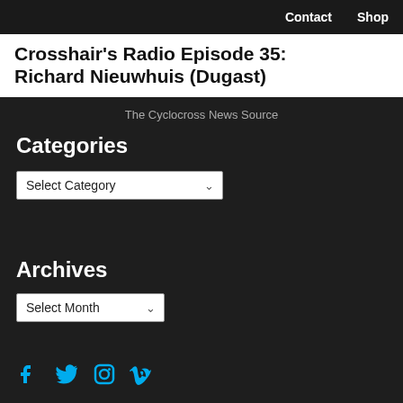Contact  Shop
Crosshair's Radio Episode 35: Richard Nieuwhuis (Dugast)
The Cyclocross News Source
Categories
Select Category
Archives
Select Month
[Figure (other): Social media icons: Facebook, Twitter, Instagram, Vimeo in cyan/teal color]